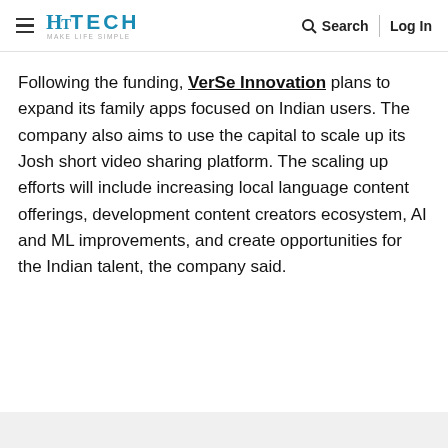HT TECH MAKE LIFE SIMPLE | Search | Log In
Following the funding, VerSe Innovation plans to expand its family apps focused on Indian users. The company also aims to use the capital to scale up its Josh short video sharing platform. The scaling up efforts will include increasing local language content offerings, development content creators ecosystem, AI and ML improvements, and create opportunities for the Indian talent, the company said.